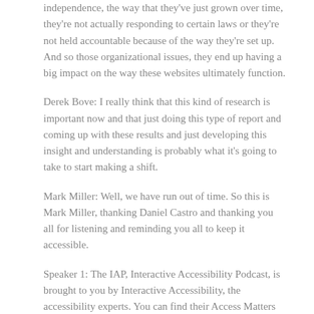independence, the way that they've just grown over time, they're not actually responding to certain laws or they're not held accountable because of the way they're set up. And so those organizational issues, they end up having a big impact on the way these websites ultimately function.
Derek Bove: I really think that this kind of research is important now and that just doing this type of report and coming up with these results and just developing this insight and understanding is probably what it's going to take to start making a shift.
Mark Miller: Well, we have run out of time. So this is Mark Miller, thanking Daniel Castro and thanking you all for listening and reminding you all to keep it accessible.
Speaker 1: The IAP, Interactive Accessibility Podcast, is brought to you by Interactive Accessibility, the accessibility experts. You can find their Access Matters Blog at interactiveaccessibility.com/blog.
Categories: IAP Podcasts, What is Web Accessibility
Tags: Industry News